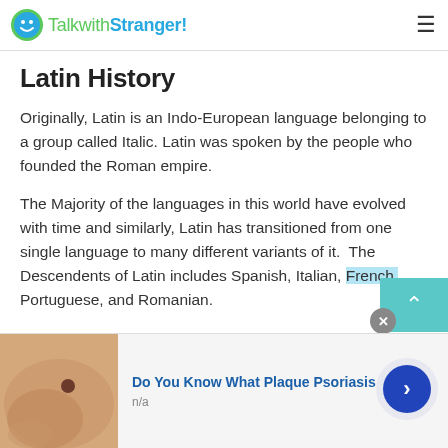TalkwithStranger!
Latin History
Originally, Latin is an Indo-European language belonging to a group called Italic. Latin was spoken by the people who founded the Roman empire.
The Majority of the languages in this world have evolved with time and similarly, Latin has transitioned from one single language to many different variants of it. The Descendents of Latin includes Spanish, Italian, French, Portuguese, and Romanian.
[Figure (other): Advertisement banner: image of skin with mole, headline 'Do You Know What Plaque Psoriasis Is?', subtext 'n/a', with next arrow button]